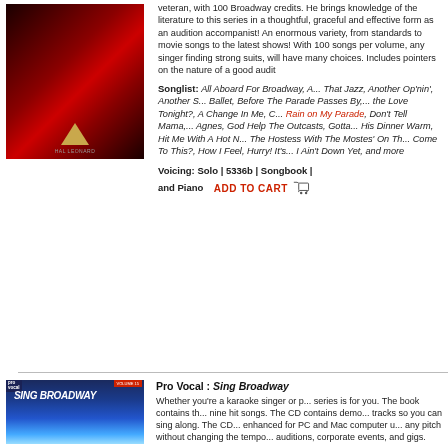[Figure (photo): Red and black Broadway songbook cover with gold triangle logo]
veteran, with 100 Broadway credits. He brings knowledge of the literature to this series in a thoughtful, graceful and effective form as an audition accompanist! An enormous variety, from standards to movie songs to the latest shows! With 100 songs per volume, any singer finding strong suits, will have many choices. Includes pointers on the nature of a good audit
Songlist: All Aboard For Broadway, A... That Jazz, Another Op'nin', Another S... Ballet, Before The Parade Passes By,... the Love Tonight?, A Change In Me, C... Rain on My Parade, Don't Tell Mama,... Agnes, God Help The Outcasts, Gotta... His Dinner Warm, Hit Me With A Hot N... The Hostess With The Mostes' On Th... Come To This?, How I Feel, Hurry! It's... I Ain't Down Yet, and more
Voicing: Solo | 5336b | Songbook |
and Piano  ADD TO CART
[Figure (photo): Pro Vocal Sing Broadway volume 15 book cover with blue stage lighting and silhouette]
Pro Vocal : Sing Broadway
Whether you're a karaoke singer or p... series is for you. The book contains th... nine hit songs. The CD contains demo... tracks so you can sing along. The CD... enhanced for PC and Mac computer u... any pitch without changing the tempo... auditions, corporate events, and gigs.